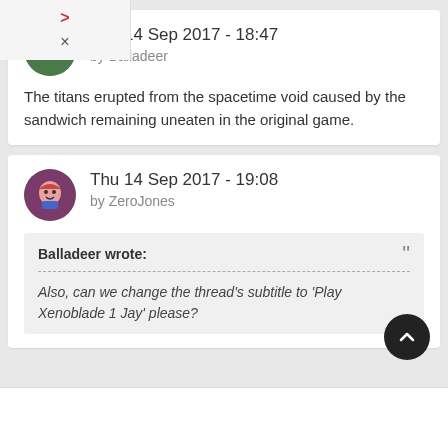Thu 14 Sep 2017 - 18:47 by Balladeer
The titans erupted from the spacetime void caused by the sandwich remaining uneaten in the original game.
Thu 14 Sep 2017 - 19:08 by ZeroJones
Balladeer wrote: Also, can we change the thread's subtitle to 'Play Xenoblade 1 Jay' please?